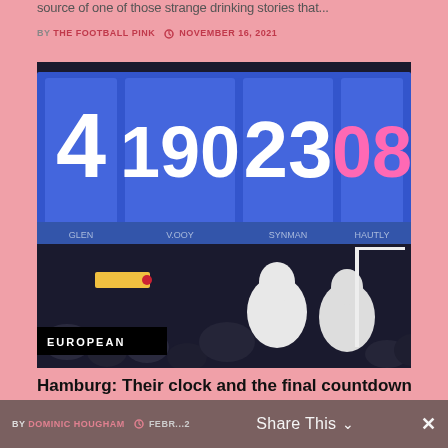source of one of those strange drinking stories that...
BY THE FOOTBALL PINK  NOVEMBER 16, 2021
[Figure (photo): Scoreboard showing numbers 4, 190, 23, 08 in an arena/stadium setting with crowd visible below and a black banner reading EUROPEAN]
Hamburg: Their clock and the final countdown
Stop all the clocks, cut off the telephone, Prevent the dog from barking with a juicy bone, Silence the...
BY DOMINIC HOUGHAM  FEBR...2  Share This  X